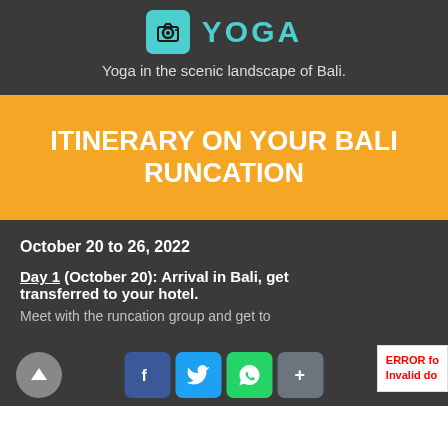YOGA
Yoga in the scenic landscape of Bali.
ITINERARY ON YOUR BALI RUNCATION
October 20 to 26, 2022
Day 1 (October 20): Arrival in Bali, get transferred to your hotel.
Meet with the runcation group and get to